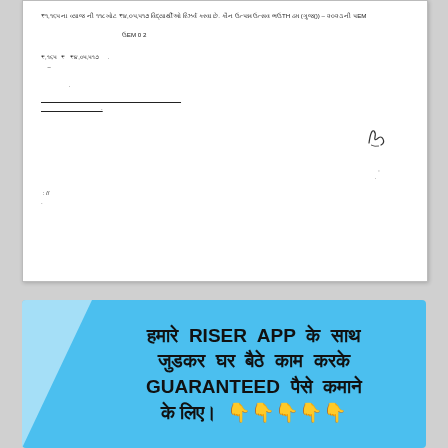[Figure (other): Scanned Gujarati government letter with handwritten signature block, date reference, and footer text]
हमारे RISER APP के साथ जुडकर घर बैठे काम करके GUARANTEED पैसे कमाने के लिए। 👇👇👇👇👇